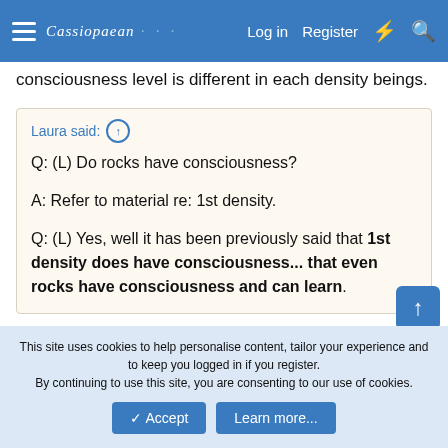Cassiopaean Forum — Log in | Register
consciousness level is different in each density beings.
Laura said: ↑
Q: (L) Do rocks have consciousness?
A: Refer to material re: 1st density.
Q: (L) Yes, well it has been previously said that 1st density does have consciousness... that even rocks have consciousness and can learn.
This site uses cookies to help personalise content, tailor your experience and to keep you logged in if you register.
By continuing to use this site, you are consenting to our use of cookies.